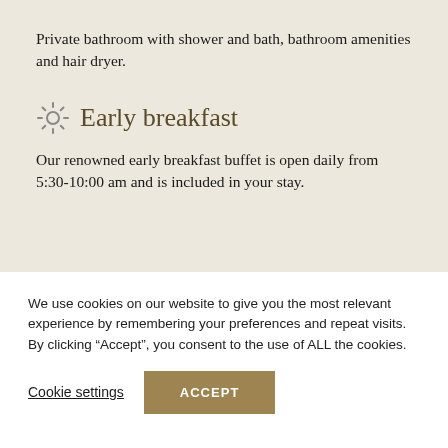Private bathroom with shower and bath, bathroom amenities and hair dryer.
Early breakfast
Our renowned early breakfast buffet is open daily from 5:30-10:00 am and is included in your stay.
We use cookies on our website to give you the most relevant experience by remembering your preferences and repeat visits. By clicking “Accept”, you consent to the use of ALL the cookies.
Cookie settings
ACCEPT